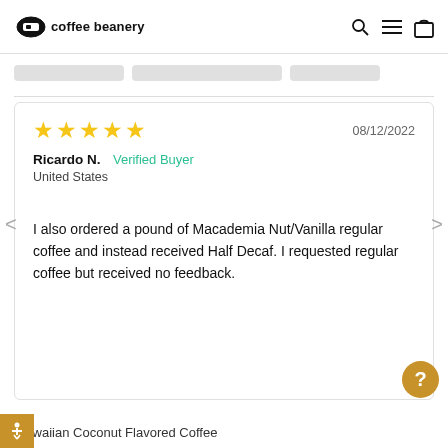[Figure (logo): Coffee Beanery logo with oval icon and brand name text]
[Figure (screenshot): Navigation icons: search (magnifying glass), hamburger menu, shopping bag]
[Figure (screenshot): Three product thumbnail placeholder bars in grey]
★★★★★   08/12/2022
Ricardo N.  Verified Buyer
United States

I also ordered a pound of Macademia Nut/Vanilla regular coffee and instead received Half Decaf. I requested regular coffee but received no feedback.
Hawaiian Coconut Flavored Coffee